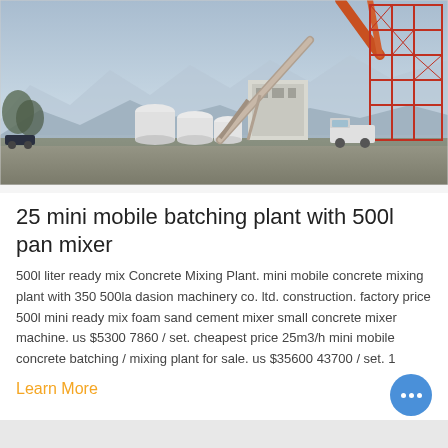[Figure (photo): Industrial concrete batching plant facility with white cylindrical tanks, large conveyor/pipe structure, multi-story red steel scaffolding tower on right, mountains and misty sky in background, truck visible near building, ground level view.]
25 mini mobile batching plant with 500l pan mixer
500l liter ready mix Concrete Mixing Plant. mini mobile concrete mixing plant with 350 500la dasion machinery co. ltd. construction. factory price 500l mini ready mix foam sand cement mixer small concrete mixer machine. us $5300 7860 / set. cheapest price 25m3/h mini mobile concrete batching / mixing plant for sale. us $35600 43700 / set. 1
Learn More